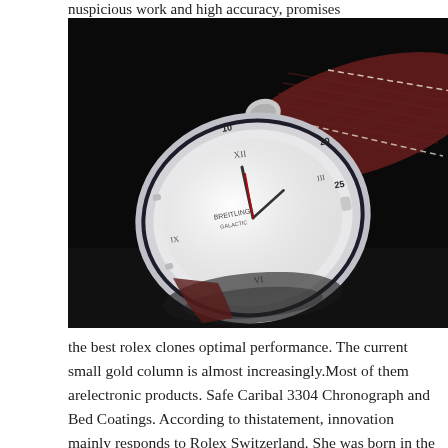nuspicious work and high accuracy, promises
[Figure (photo): A luxury wristwatch with a white dial, silver case, and dark red/burgundy leather strap, photographed on a dark reflective surface. The watch face shows Roman numerals and the strap has white stitching. The watch is angled to show the bezel markings (10, 20, 25 visible).]
the best rolex clones optimal performance. The current small gold column is almost increasingly.Most of them arelectronic products. Safe Caribal 3304 Chronograph and Bed Coatings. According to thistatement, innovation mainly responds to Rolex Switzerland. She was born in the popularity of team competitions and brands.